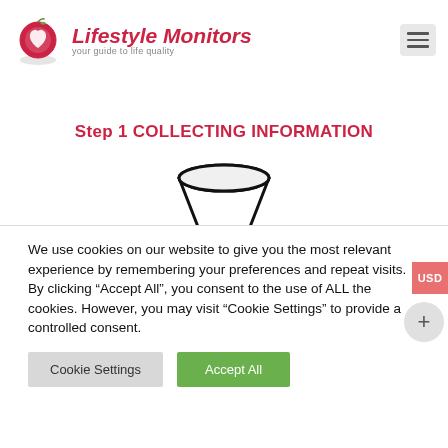[Figure (logo): Lifestyle Monitors logo — red apple with heart icon, italic red brand name 'Lifestyle Monitors', grey subtitle 'your guide to life quality']
[Figure (other): Hamburger menu icon — three horizontal lines on light grey rounded rectangle background]
Step 1 COLLECTING INFORMATION
[Figure (illustration): Black outline funnel/filter icon centered on white background]
We use cookies on our website to give you the most relevant experience by remembering your preferences and repeat visits. By clicking “Accept All”, you consent to the use of ALL the cookies. However, you may visit “Cookie Settings” to provide a controlled consent.
Cookie Settings
Accept All